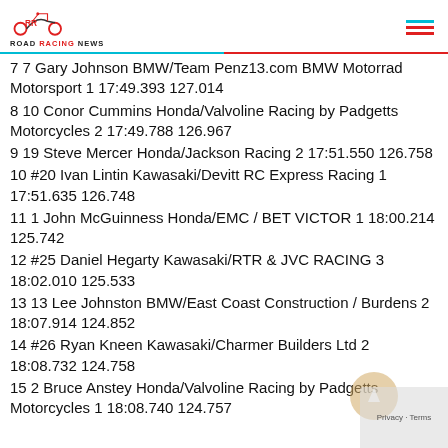Road Racing News
7 7 Gary Johnson BMW/Team Penz13.com BMW Motorrad Motorsport 1 17:49.393 127.014
8 10 Conor Cummins Honda/Valvoline Racing by Padgetts Motorcycles 2 17:49.788 126.967
9 19 Steve Mercer Honda/Jackson Racing 2 17:51.550 126.758
10 #20 Ivan Lintin Kawasaki/Devitt RC Express Racing 1 17:51.635 126.748
11 1 John McGuinness Honda/EMC / BET VICTOR 1 18:00.214 125.742
12 #25 Daniel Hegarty Kawasaki/RTR & JVC RACING 3 18:02.010 125.533
13 13 Lee Johnston BMW/East Coast Construction / Burdens 2 18:07.914 124.852
14 #26 Ryan Kneen Kawasaki/Charmer Builders Ltd 2 18:08.732 124.758
15 2 Bruce Anstey Honda/Valvoline Racing by Padgetts Motorcycles 1 18:08.740 124.757